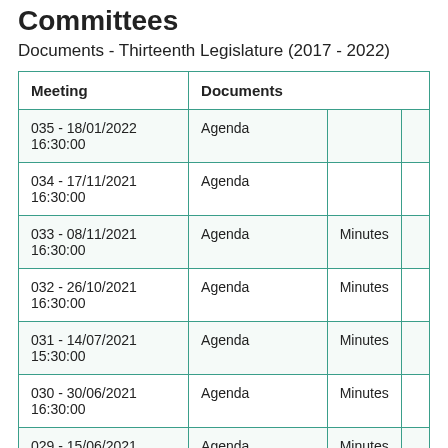Committees
Documents - Thirteenth Legislature (2017 - 2022)
| Meeting | Documents |  |  |
| --- | --- | --- | --- |
| 035 - 18/01/2022 16:30:00 | Agenda |  |  |
| 034 - 17/11/2021 16:30:00 | Agenda |  |  |
| 033 - 08/11/2021 16:30:00 | Agenda | Minutes |  |
| 032 - 26/10/2021 16:30:00 | Agenda | Minutes |  |
| 031 - 14/07/2021 15:30:00 | Agenda | Minutes |  |
| 030 - 30/06/2021 16:30:00 | Agenda | Minutes |  |
| 029 - 15/06/2021 16:30:00 | Agenda | Minutes |  |